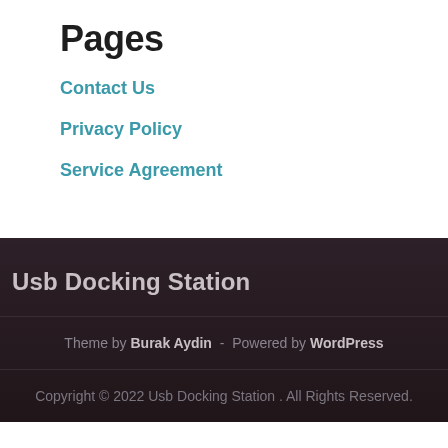Pages
Contact Us
Privacy Policy
Service Agreement
Usb Docking Station
Theme by Burak Aydin - Powered by WordPress
Copyright © 2022 Usb Docking Station . All Rights Reserved.